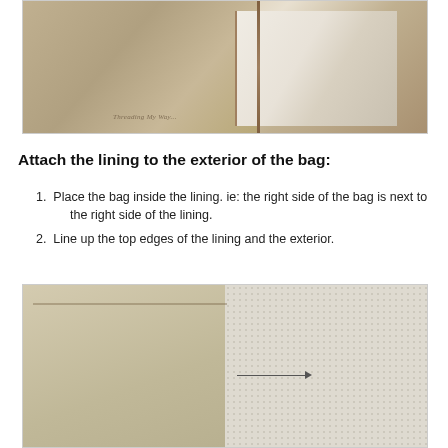[Figure (photo): Close-up photo of fabric with lace overlay and decorative stitching, watermark reads 'Threading My Way']
Attach the lining to the exterior of the bag:
1. Place the bag inside the lining. ie: the right side of the bag is next to the right side of the lining.
2. Line up the top edges of the lining and the exterior.
[Figure (photo): Photo showing a tan lining fabric next to a dotted exterior fabric with an arrow pointing from left to right between them]